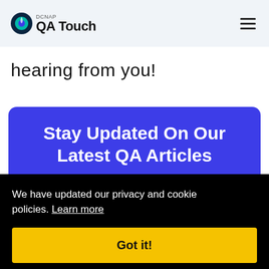DCNAP QA Touch
hearing from you!
Stay Updated On Our Latest QA Articles
We have updated our privacy and cookie policies. Learn more
Got it!